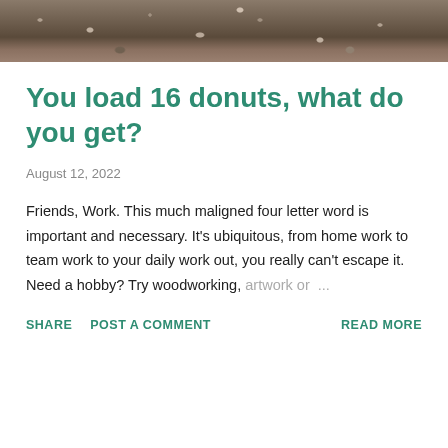[Figure (photo): Close-up photo of small rocks, pebbles and gravel on the ground, earth tones of brown, gray and reddish colors.]
You load 16 donuts, what do you get?
August 12, 2022
Friends, Work. This much maligned four letter word is important and necessary. It's ubiquitous, from home work to team work to your daily work out, you really can't escape it. Need a hobby? Try woodworking, artwork or …
SHARE   POST A COMMENT   READ MORE